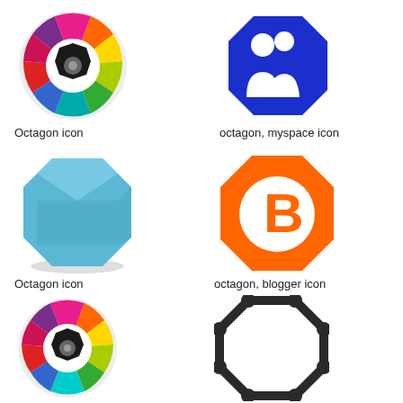[Figure (illustration): Colorful segmented circle octagon icon with rainbow color segments and dark center]
Octagon icon
[Figure (illustration): Blue octagon shape with white myspace silhouette icon]
octagon, myspace icon
[Figure (illustration): Light blue glossy 3D octagon shape icon]
Octagon icon
[Figure (illustration): Orange octagon with white blogger B logo]
octagon, blogger icon
[Figure (illustration): Colorful segmented circle octagon icon (smaller version)]
[Figure (illustration): Dark gray octagon outline with circles at corners]